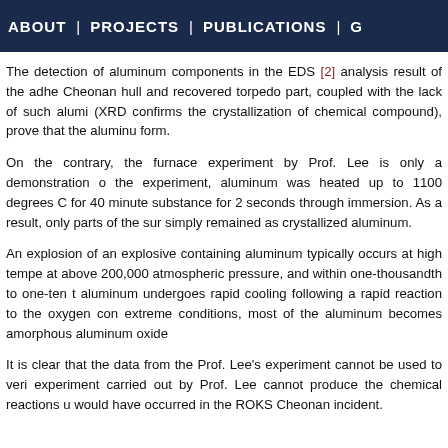ABOUT | PROJECTS | PUBLICATIONS | G
The detection of aluminum components in the EDS [2] analysis result of the adhe Cheonan hull and recovered torpedo part, coupled with the lack of such alumi (XRD confirms the crystallization of chemical compound), prove that the aluminu form.
On the contrary, the furnace experiment by Prof. Lee is only a demonstration o the experiment, aluminum was heated up to 1100 degrees C for 40 minute substance for 2 seconds through immersion. As a result, only parts of the sur simply remained as crystallized aluminum.
An explosion of an explosive containing aluminum typically occurs at high tempe at above 200,000 atmospheric pressure, and within one-thousandth to one-ten t aluminum undergoes rapid cooling following a rapid reaction to the oxygen con extreme conditions, most of the aluminum becomes amorphous aluminum oxide
It is clear that the data from the Prof. Lee's experiment cannot be used to veri experiment carried out by Prof. Lee cannot produce the chemical reactions u would have occurred in the ROKS Cheonan incident.